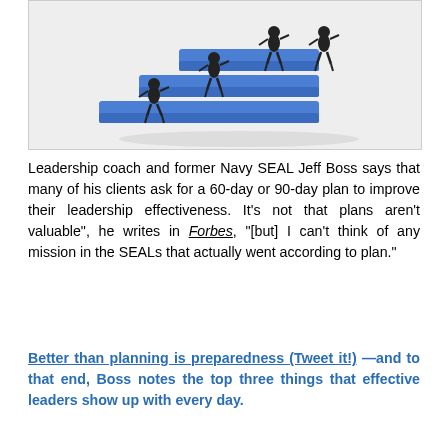[Figure (illustration): 3D black stick figures walking up blue staircase steps, representing leadership progression]
Leadership coach and former Navy SEAL Jeff Boss says that many of his clients ask for a 60-day or 90-day plan to improve their leadership effectiveness. It's not that plans aren't valuable", he writes in Forbes, "[but] I can't think of any mission in the SEALs that actually went according to plan."
Better than planning is preparedness (Tweet it!) —and to that end, Boss notes the top three things that effective leaders show up with every day.